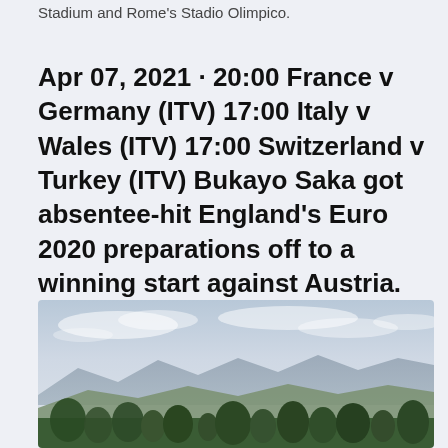Stadium and Rome's Stadio Olimpico.
Apr 07, 2021 · 20:00 France v Germany (ITV) 17:00 Italy v Wales (ITV) 17:00 Switzerland v Turkey (ITV) Bukayo Saka got absentee-hit England's Euro 2020 preparations off to a winning start against Austria.
[Figure (photo): Outdoor landscape photograph showing mountains in the background under a pale blue sky with soft clouds; foreground shows green vegetation and trees at the bottom edge.]